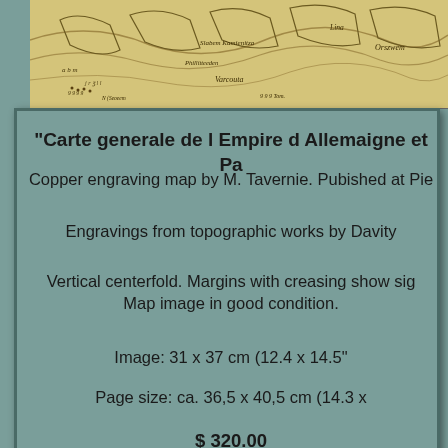[Figure (map): Top portion of an antique copper engraving map showing regions with old-style cartographic text and lines]
"Carte generale de l Empire d Allemaigne et Pa..."
Copper engraving map by M. Tavernie. Pubished at Pie...
Engravings from topographic works by Davity...
Vertical centerfold. Margins with creasing show sig... Map image in good condition.
Image: 31 x 37 cm (12.4 x 14.5"...
Page size: ca. 36,5 x 40,5 cm (14.3 x ...
$ 320.00
Order Nr. DEUTSCHLAND2551...
[Figure (map): Bottom portion showing another antique map titled MILITARDISLOKATION IN OSTERREICH-UNGARN]